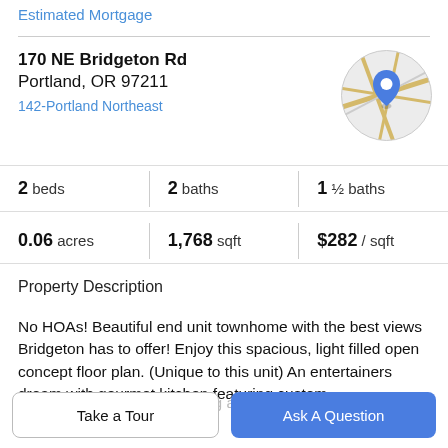Estimated Mortgage
170 NE Bridgeton Rd
Portland, OR 97211
142-Portland Northeast
[Figure (map): Circular map thumbnail showing a location pin marker on street map]
2 beds | 2 baths | 1 ½ baths
0.06 acres | 1,768 sqft | $282 / sqft
Property Description
No HOAs! Beautiful end unit townhome with the best views Bridgeton has to offer! Enjoy this spacious, light filled open concept floor plan. (Unique to this unit) An entertainers dream with gourmet kitchen featuring custom cabinets and counters. Dining area with gorgeous stone
Take a Tour
Ask A Question